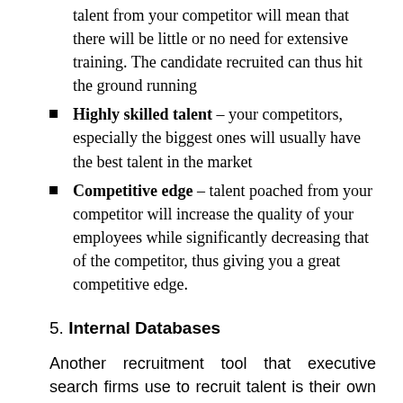talent from your competitor will mean that there will be little or no need for extensive training. The candidate recruited can thus hit the ground running
Highly skilled talent – your competitors, especially the biggest ones will usually have the best talent in the market
Competitive edge – talent poached from your competitor will increase the quality of your employees while significantly decreasing that of the competitor, thus giving you a great competitive edge.
5. Internal Databases
Another recruitment tool that executive search firms use to recruit talent is their own internal databases, here is a good example from Stone Executive: https://www.stoneexecutive.co.uk/candidates. In the course of a recruitment process, headhunters will come across several candidates, but only one will be chosen by